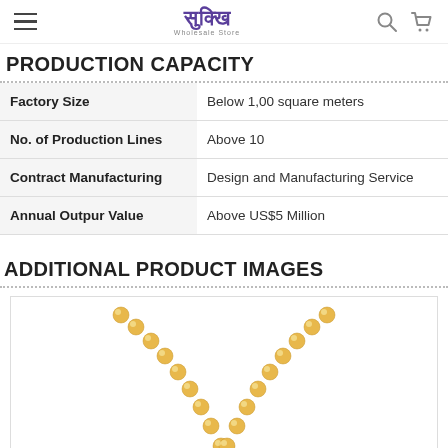Sukkhi Wholesale Store — navigation bar
PRODUCTION CAPACITY
|  |  |
| --- | --- |
| Factory Size | Below 1,00 square meters |
| No. of Production Lines | Above 10 |
| Contract Manufacturing | Design and Manufacturing Service |
| Annual Outpur Value | Above US$5 Million |
ADDITIONAL PRODUCT IMAGES
[Figure (photo): Gold bead chain necklace product image with yellow gold round beads arranged in a V-shape against white background]